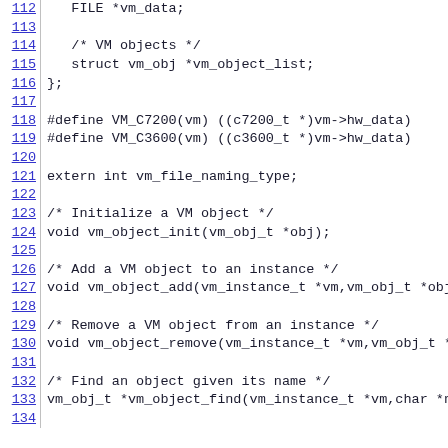Code listing lines 112-134: C header file showing VM (virtual machine) structure definitions and function declarations including vm_object_list, VM_C7200, VM_C3600 macros, vm_file_naming_type, vm_object_init, vm_object_add, vm_object_remove, vm_object_find.